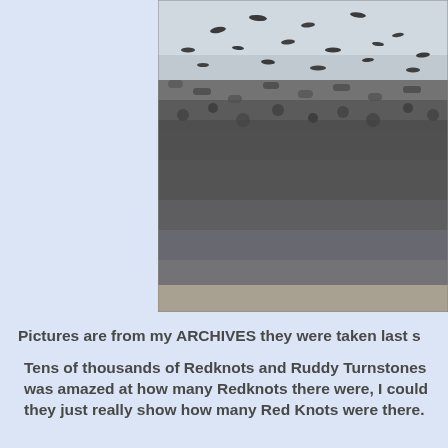[Figure (photo): A large flock of shorebirds — Red Knots and Ruddy Turnstones — densely packed on a beach/mudflat, with many birds also in flight above them. Black and white / sepia-toned archival photograph.]
Pictures are from my ARCHIVES they were taken last s
Tens of thousands of Redknots and Ruddy Turnstones... was amazed at how many Redknots there were, I could... they just really show how many Red Knots were there.